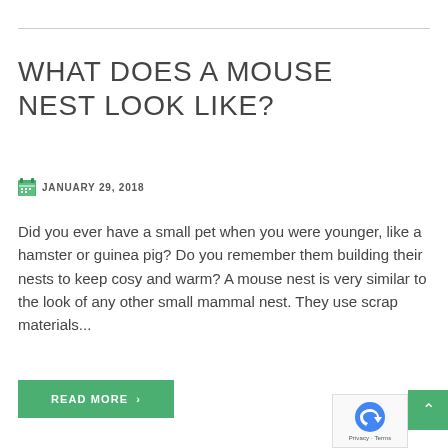WHAT DOES A MOUSE NEST LOOK LIKE?
JANUARY 29, 2018
Did you ever have a small pet when you were younger, like a hamster or guinea pig? Do you remember them building their nests to keep cosy and warm? A mouse nest is very similar to the look of any other small mammal nest. They use scrap materials...
READ MORE >